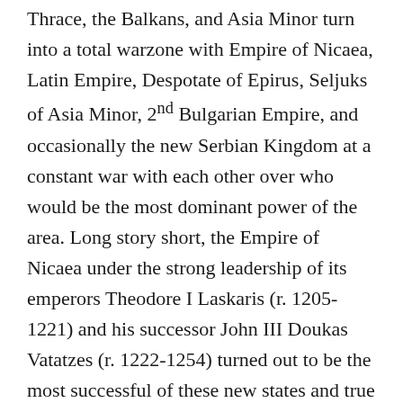Thrace, the Balkans, and Asia Minor turn into a total warzone with Empire of Nicaea, Latin Empire, Despotate of Epirus, Seljuks of Asia Minor, 2nd Bulgarian Empire, and occasionally the new Serbian Kingdom at a constant war with each other over who would be the most dominant power of the area. Long story short, the Empire of Nicaea under the strong leadership of its emperors Theodore I Laskaris (r. 1205-1221) and his successor John III Doukas Vatatzes (r. 1222-1254) turned out to be the most successful of these new states and true enough the legitimate successor of Byzantium, while the Latin Empire based in Constantinople did not last long as the Latin rulers that ruled it true enough never had any long-term vision to build an empire as they just captured Constantinople unexpectedly in 1204 only intending to loot it, thus the Latin Empire of Constantinople having weak rulers with a lack of vision and being neglected by Western Europe would last less than 57 years. At the...